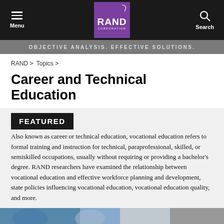RAND Corporation — Menu | Search
OBJECTIVE ANALYSIS. EFFECTIVE SOLUTIONS.
RAND > Topics >
Career and Technical Education
FEATURED
Also known as career or technical education, vocational education refers to formal training and instruction for technical, paraprofessional, skilled, or semiskilled occupations, usually without requiring or providing a bachelor's degree. RAND researchers have examined the relationship between vocational education and effective workforce planning and development, state policies influencing vocational education, vocational education quality, and more.
[Figure (photo): Bottom photo strip showing people, partially visible]